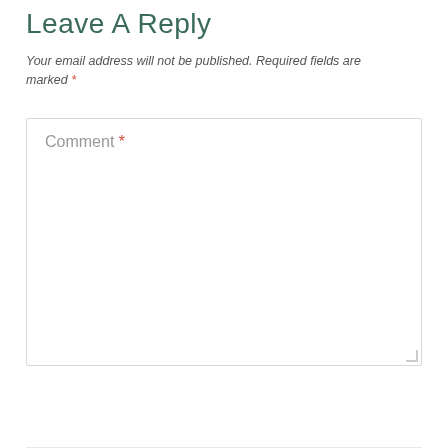Leave A Reply
Your email address will not be published. Required fields are marked *
[Figure (screenshot): A comment text area input field with placeholder text 'Comment *' and a resize handle in the bottom-right corner]